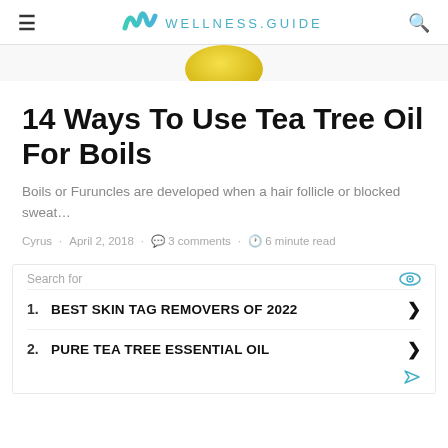WELLNESS.GUIDE
[Figure (photo): Partial hero image showing a yellow/gold oval object (likely a bowl of tea tree oil) against white background]
14 Ways To Use Tea Tree Oil For Boils
Boils or Furuncles are developed when a hair follicle or blocked sweat…
Cyrus · April 2, 2018 · 3 comments · 6 minute read
Search for
1. BEST SKIN TAG REMOVERS OF 2022
2. PURE TEA TREE ESSENTIAL OIL